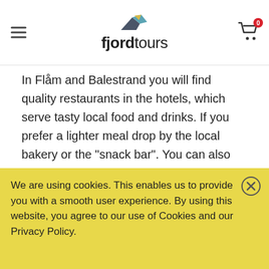fjordtours
In Flåm and Balestrand you will find quality restaurants in the hotels, which serve tasty local food and drinks. If you prefer a lighter meal drop by the local bakery or the "snack bar". You can also shop in several grocery stores in the towns.
Are you interested in knowing more about traditional Norwegian food, join in on a food tour, check the tours
We are using cookies. This enables us to provide you with a smooth user experience. By using this website, you agree to our use of Cookies and our Privacy Policy.